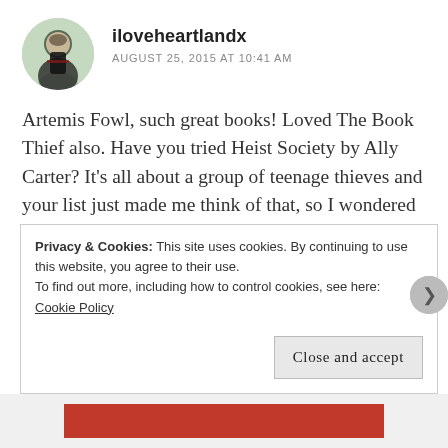[Figure (photo): Circular avatar photo of a person standing outdoors]
iloveheartlandx
AUGUST 25, 2015 AT 10:41 AM
Artemis Fowl, such great books! Loved The Book Thief also. Have you tried Heist Society by Ally Carter? It's all about a group of teenage thieves and your list just made me think of that, so I wondered if you'd read it?
My TTT:
https://jjbookblog.wordpress.com/2015/08/25/top-ten-tuesday-19/
Privacy & Cookies: This site uses cookies. By continuing to use this website, you agree to their use.
To find out more, including how to control cookies, see here: Cookie Policy
Close and accept